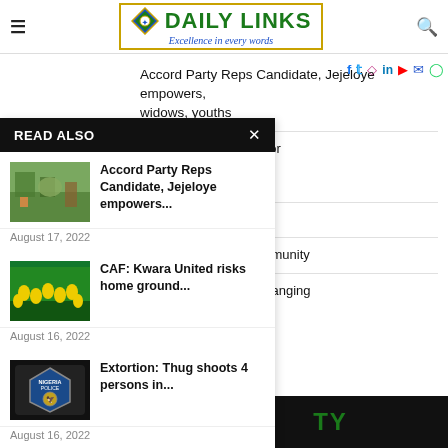DAILY LINKS — Excellence in every words
Accord Party Reps Candidate, Jejeloye empowers, widows, youths
READ ALSO
[Figure (photo): Outdoor market/event scene with people]
Accord Party Reps Candidate, Jejeloye empowers...
August 17, 2022
[Figure (photo): Football team in yellow and green uniforms]
CAF: Kwara United risks home ground...
August 16, 2022
[Figure (photo): Nigeria Police logo/badge on dark background]
Extortion: Thug shoots 4 persons in...
August 16, 2022
ground ban over poor lleges State Sports ration
ons in Ondo
asks Religious, Community
onarch to death by hanging